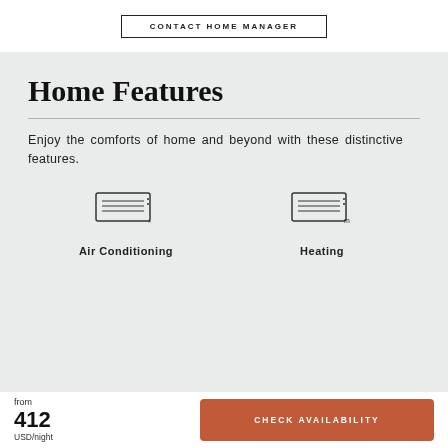CONTACT HOME MANAGER
Home Features
Enjoy the comforts of home and beyond with these distinctive features.
[Figure (illustration): Air conditioning unit icon]
Air Conditioning
[Figure (illustration): Heating unit icon]
Heating
from 412 USD/night
CHECK AVAILABILITY